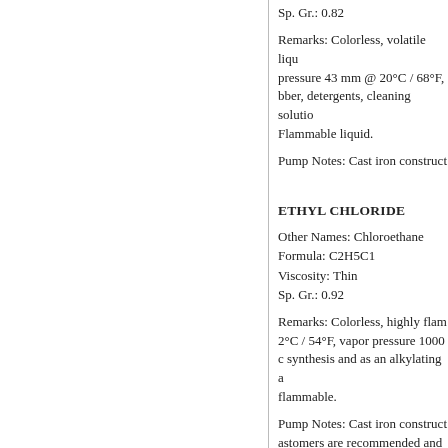Sp. Gr.: 0.82
Remarks: Colorless, volatile liquid; vapor pressure 43 mm @ 20°C / 68°F, bber, detergents, cleaning solutions. Flammable liquid.
Pump Notes: Cast iron construct
ETHYL CHLORIDE
Other Names: Chloroethane
Formula: C2H5C1
Viscosity: Thin
Sp. Gr.: 0.92
Remarks: Colorless, highly flammable; bp 2°C / 54°F, vapor pressure 1000; c synthesis and as an alkylating agent. flammable.
Pump Notes: Cast iron construct astomers are recommended and
ETHYLENE ALCOHOL - See E